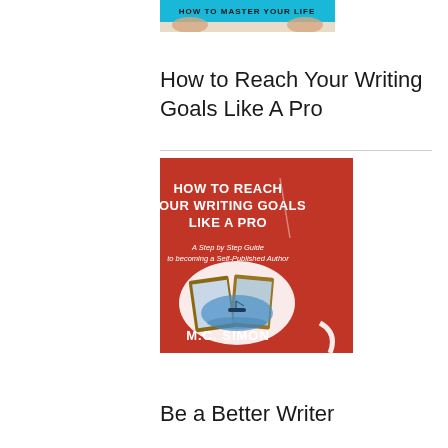[Figure (illustration): Partial top of a book cover with text 'HOW TO MASTER YOUR LIFE' on a blue/cyan banner background]
How to Reach Your Writing Goals Like A Pro
[Figure (illustration): Book cover with red/orange background. Title reads 'HOW TO REACH YOUR WRITING GOALS LIKE A PRO' in bold white text. Subtitle: 'A Step by Step Guide to becoming a Self-Published Author'. Oval image of an open book with a small boat scene. Author name 'M.C. SIMON' at the bottom.]
Be a Better Writer